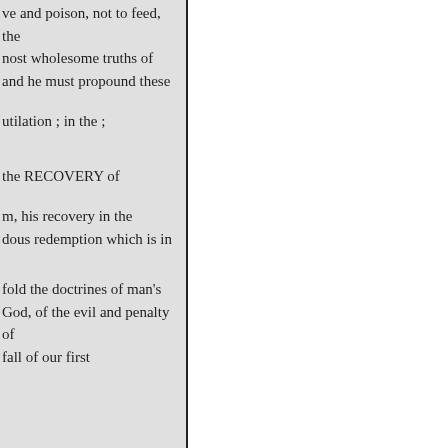ve and poison, not to feed, the most wholesome truths of and he must propound these
utilation ; in the ;
the RECOVERY of
m, his recovery in the dous redemption which is in
fold the doctrines of man's God, of the evil and penalty of fall of our first
nal death which awaits us, of things, and the near approach stimony of Holy Scripture eature; that he is “born in